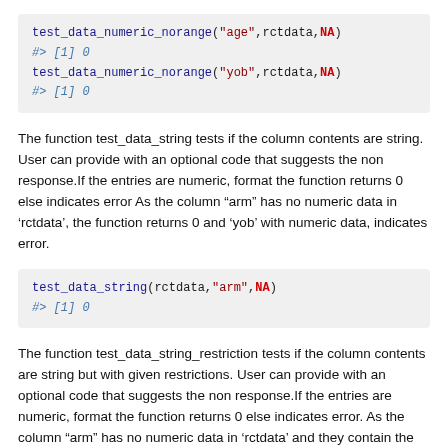[Figure (screenshot): Code block showing: test_data_numeric_norange("age",rctdata,NA) with output #> [1] 0, and test_data_numeric_norange("yob",rctdata,NA) with output #> [1] 0]
The function test_data_string tests if the column contents are string. User can provide with an optional code that suggests the non response.If the entries are numeric, format the function returns 0 else indicates error As the column “arm” has no numeric data in ‘rctdata’, the function returns 0 and ‘yob’ with numeric data, indicates error.
[Figure (screenshot): Code block showing: test_data_string(rctdata,"arm",NA) with output #> [1] 0]
The function test_data_string_restriction tests if the column contents are string but with given restrictions. User can provide with an optional code that suggests the non response.If the entries are numeric, format the function returns 0 else indicates error. As the column “arm” has no numeric data in ‘rctdata’ and they contain the entries as specified, the function returns 0. But the column ‘sex’ contain “M” and “F” other than “Male” and